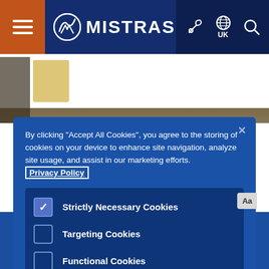[Figure (screenshot): MISTRAS website navigation bar with hamburger menu on orange background, MISTRAS logo on dark blue, and icons (wrench, globe/UK, search) on darker blue]
[Figure (photo): Background photo of industrial equipment, partially visible behind cookie consent modal]
By clicking "Accept All Cookies", you agree to the storing of cookies on your device to enhance site navigation, analyze site usage, and assist in our marketing efforts. Privacy Policy
Strictly Necessary Cookies (checked)
Targeting Cookies (unchecked)
Functional Cookies (unchecked)
Performance Cookies (unchecked)
Reject All